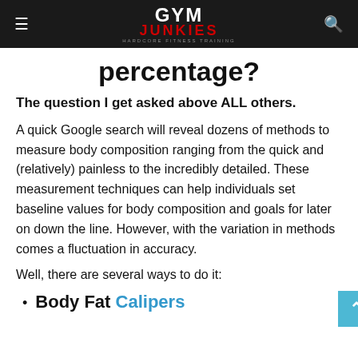GYM JUNKIES - HARDCORE FITNESS TRAINING
percentage?
The question I get asked above ALL others.
A quick Google search will reveal dozens of methods to measure body composition ranging from the quick and (relatively) painless to the incredibly detailed. These measurement techniques can help individuals set baseline values for body composition and goals for later on down the line. However, with the variation in methods comes a fluctuation in accuracy.
Well, there are several ways to do it:
Body Fat Calipers